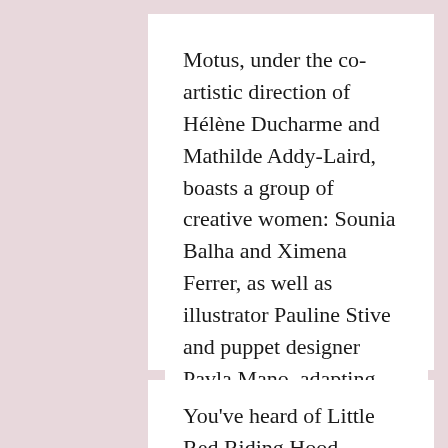Motus, under the co-artistic direction of Hélène Ducharme and Mathilde Addy-Laird, boasts a group of creative women: Sounia Balha and Ximena Ferrer, as well as illustrator Pauline Stive and puppet designer Pavla Mano, adapting three traditional tales about The Wolf! Welcome to the show: Little lockdown legends.
You've heard of Little Red Riding Hood,